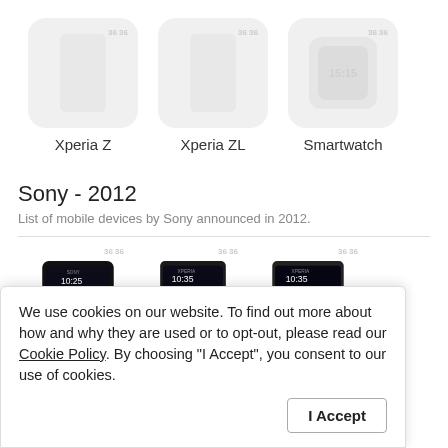[Figure (screenshot): Three device icons: Xperia Z phone placeholder, Xperia ZL phone placeholder, Smartwatch placeholder — all shown as grey rounded rectangle icons]
Xperia Z
Xperia ZL
Smartwatch
Sony - 2012
List of mobile devices by Sony announced in 2012.
[Figure (screenshot): Three Sony smartphones shown as real product photos from a website listing, partially visible at bottom of page]
We use cookies on our website. To find out more about how and why they are used or to opt-out, please read our Cookie Policy. By choosing "I Accept", you consent to our use of cookies.